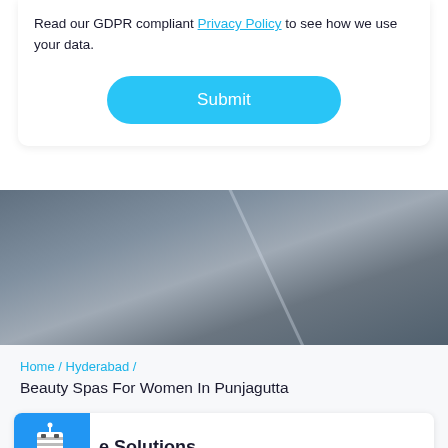Read our GDPR compliant Privacy Policy to see how we use your data.
Submit
[Figure (photo): Blurred background photo with diagonal light streak, dark blue-grey tones]
Home / Hyderabad /
Beauty Spas For Women In Punjagutta
[Figure (logo): Blue square icon with a white robot/mummy mascot illustration]
e Solutions